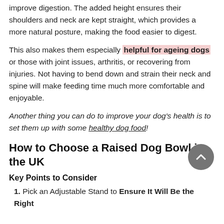improve digestion. The added height ensures their shoulders and neck are kept straight, which provides a more natural posture, making the food easier to digest.
This also makes them especially helpful for ageing dogs or those with joint issues, arthritis, or recovering from injuries. Not having to bend down and strain their neck and spine will make feeding time much more comfortable and enjoyable.
Another thing you can do to improve your dog's health is to set them up with some healthy dog food!
How to Choose a Raised Dog Bowl in the UK
Key Points to Consider
1. Pick an Adjustable Stand to Ensure It Will Be the Right